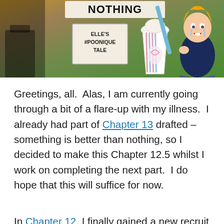[Figure (illustration): Blog post header image showing a banner with text 'NOTHING' at top, a sign reading "ELLE'S #POONIQUE TALE", a cartoon illustration of a crying anime-style girl in a dark top, and a large milkshake/drink graphic with blue straw, set against an outdoor background]
Greetings, all.  Alas, I am currently going through a bit of a flare-up with my illness.  I already had part of Chapter 13 drafted – something is better than nothing, so I decided to make this Chapter 12.5 whilst I work on completing the next part.  I do hope that this will suffice for now.
In Chapter 12, I finally gained a new recruit